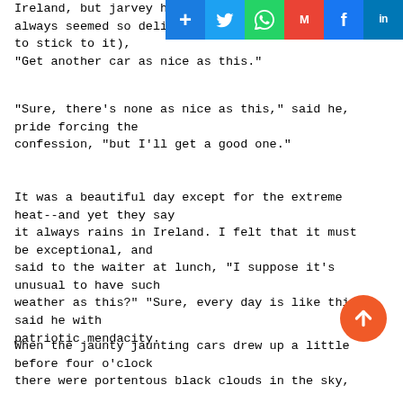Ireland, but jarvey has always seemed so delightfully to stick to it), "Get another car as nice as this."
[Figure (screenshot): Social media sharing icons bar: Google+, Twitter, WhatsApp, Gmail, Facebook, LinkedIn]
"Sure, there's none as nice as this," said he, pride forcing the confession, "but I'll get a good one."
It was a beautiful day except for the extreme heat--and yet they say it always rains in Ireland. I felt that it must be exceptional, and said to the waiter at lunch, "I suppose it's unusual to have such weather as this?" "Sure, every day is like this," said he with patriotic mendacity.
When the jaunty jaunting cars drew up a little before four o'clock there were portentous black clouds in the sky,